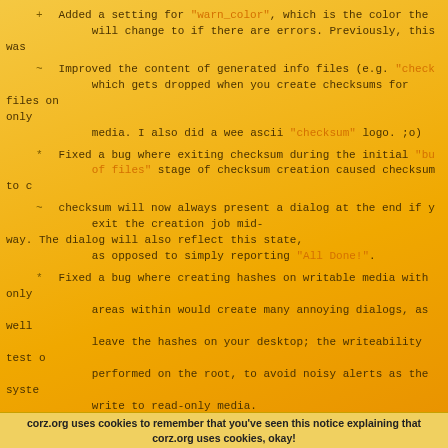+ Added a setting for "warn_color", which is the color the will change to if there are errors. Previously, this was
~ Improved the content of generated info files (e.g. "check which gets dropped when you create checksums for files on only media. I also did a wee ascii "checksum" logo. ;o)
* Fixed a bug where exiting checksum during the initial "bu of files" stage of checksum creation caused checksum to c
~ checksum will now always present a dialog at the end if y exit the creation job mid-way. The dialog will also reflect this state, as opposed to simply reporting "All Done!".
* Fixed a bug where creating hashes on writable media with only areas within would create many annoying dialogs, as well leave the hashes on your desktop; the writeability test o performed on the root, to avoid noisy alerts as the syste write to read-only media.
However, so long as the root location is writeable, check perform a second test, locally, which could only fail thr permissions errors, and won't risk a second alert, but *w checksum if it's possible to create a checksum file in th not, checksum will revert to leaving them in your fallba
corz.org uses cookies to remember that you've seen this notice explaining that corz.org uses cookies, okay!